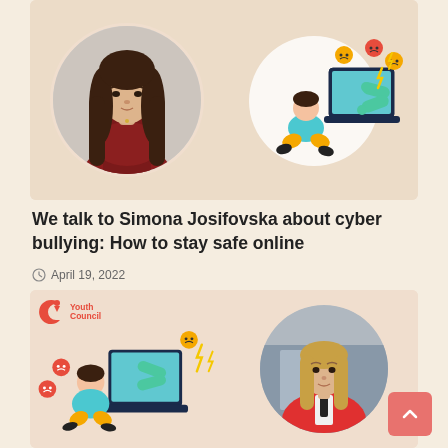[Figure (photo): Top card with a young woman's circular portrait photo on left, and a cyberbullying illustration (person being bullied through laptop screen) on the right, on a beige background]
We talk to Simona Josifovska about cyber bullying: How to stay safe online
April 19, 2022
[Figure (illustration): Bottom card with Youth Council logo and cyberbullying illustration on the left, and a circular portrait of a woman in a red jacket on the right, on a beige background]